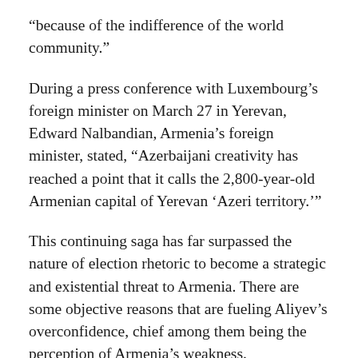“because of the indifference of the world community.”
During a press conference with Luxembourg’s foreign minister on March 27 in Yerevan, Edward Nalbandian, Armenia’s foreign minister, stated, “Azerbaijani creativity has reached a point that it calls the 2,800-year-old Armenian capital of Yerevan ‘Azeri territory.’”
This continuing saga has far surpassed the nature of election rhetoric to become a strategic and existential threat to Armenia. There are some objective reasons that are fueling Aliyev’s overconfidence, chief among them being the perception of Armenia’s weakness.